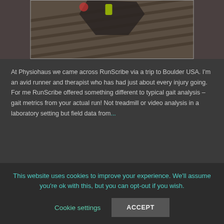[Figure (photo): Partial view of a running shoe on wooden deck/boardwalk planks, photographed from above at an angle]
At Physiohaus we came across RunScribe via a trip to Boulder USA. I'm an avid runner and therapist who has had just about every injury going. For me RunScribe offered something different to typical gait analysis – gait metrics from your actual run! Not treadmill or video analysis in a laboratory setting but field data from...
This website uses cookies to improve your experience. We'll assume you're ok with this, but you can opt-out if you wish.
Cookie settings
ACCEPT